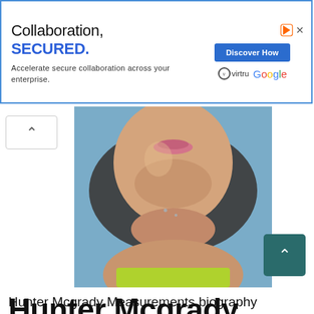[Figure (screenshot): Advertisement banner: 'Collaboration, SECURED. Accelerate secure collaboration across your enterprise.' with Virtru and Google logos and a Discover How button]
[Figure (photo): Photo of Hunter Mcgrady showing her lower face, neck and shoulders against a blue background, wearing a yellow-green outfit]
Hunter Mcgrady Measurements – Height, Weight, Age, Bra Size & Body Statistics
Hunter Mcgrady Measurements biography